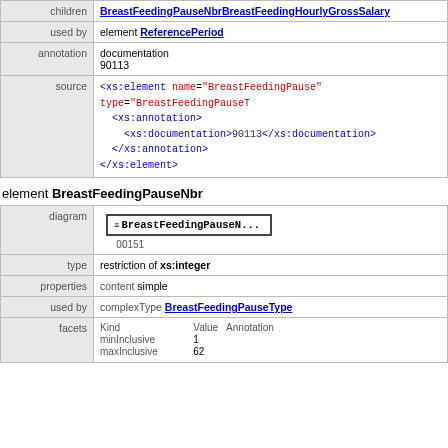|  |  |
| --- | --- |
| children | BreastFeedingPauseNbrBreastFeedingHourlyGrossSalary |
| used by | element ReferencePeriod |
| annotation | documentation
90113 |
| source | <xs:element name="BreastFeedingPause" type="BreastFeedingPauseT"
  <xs:annotation>
    <xs:documentation>90113</xs:documentation>
  </xs:annotation>
</xs:element> |
element BreastFeedingPauseNbr
|  |  |
| --- | --- |
| diagram | BreastFeedingPauseN... 00151 |
| type | restriction of xs:integer |
| properties | content simple |
| used by | complexType BreastFeedingPauseType |
| facets | Kind Value Annotation
minInclusive 1
maxInclusive 62 |